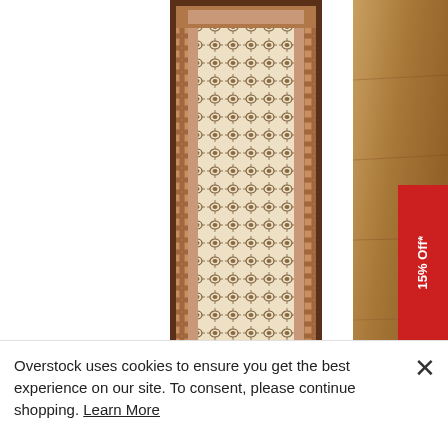[Figure (photo): A tall narrow runner rug with cream/ivory background and repeating geometric/floral pattern in brown, with decorative border. Displayed vertically against white background.]
[Figure (photo): Partial view of a second product (appears to be wood flooring or another rug) with warm brown tones on the right side of the page.]
[Figure (other): Red discount badge reading '15% Off*' rotated vertically, positioned in lower right area.]
Overstock uses cookies to ensure you get the best experience on our site. To consent, please continue shopping. Learn More